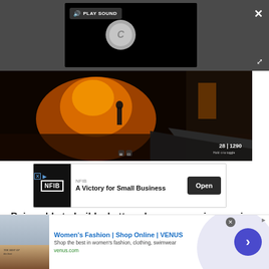[Figure (screenshot): Video player overlay on dark gray background with PLAY SOUND button, spinning loading circle, close X button, and expand icon]
[Figure (screenshot): First-person shooter video game screenshot showing a dark urban alley with orange fire/explosion in background, a figure in the distance, and a weapon in foreground. HUD shows ammo: 28 | 1290]
[Figure (screenshot): NFIB advertisement banner: logo on black background, text 'NFIB / A Victory for Small Business', Open button on right]
Being able to build a better, cleaner, more impressive
[Figure (screenshot): Bottom banner ad for Women's Fashion | Shop Online | VENUS. 'Shop the best in women's fashion, clothing, swimwear'. venus.com. Blue circular arrow button on right.]